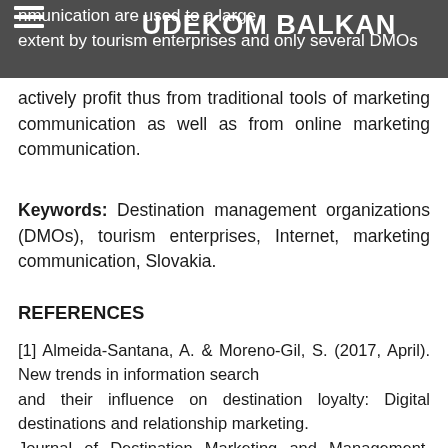UDEKOM BALKAN
communication are used to a large extent by tourism enterprises and only several DMOs actively profit thus from traditional tools of marketing communication as well as from online marketing communication.
Keywords: Destination management organizations (DMOs), tourism enterprises, Internet, marketing communication, Slovakia.
REFERENCES
[1] Almeida-Santana, A. & Moreno-Gil, S. (2017, April). New trends in information search and their influence on destination loyalty: Digital destinations and relationship marketing. Journal of Destination Marketing and Management, 6(2), 150–161. doi: 10.1016/j.